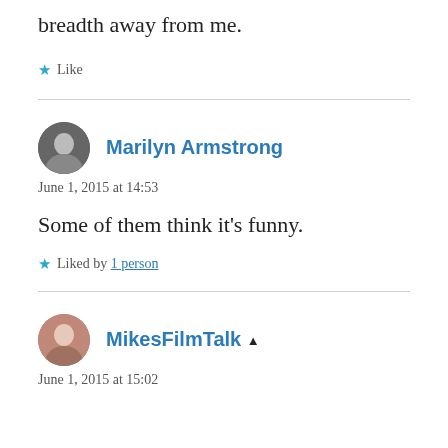breadth away from me.
★ Like
Marilyn Armstrong
June 1, 2015 at 14:53
Some of them think it's funny.
★ Liked by 1 person
MikesFilmTalk ▲
June 1, 2015 at 15:02